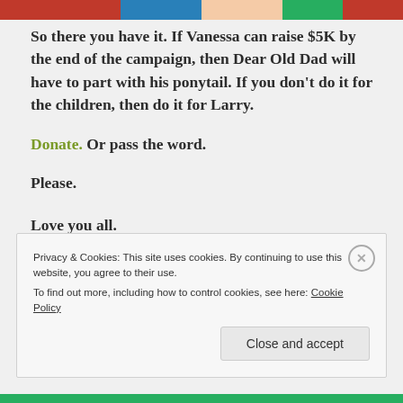[Figure (photo): Colorful horizontal image strip at the top of the page showing partial view of people or clothing in red, blue, skin-tone, and green colors]
So there you have it. If Vanessa can raise $5K by the end of the campaign, then Dear Old Dad will have to part with his ponytail. If you don't do it for the children, then do it for Larry.
Donate. Or pass the word.
Please.
Love you all.
Privacy & Cookies: This site uses cookies. By continuing to use this website, you agree to their use.
To find out more, including how to control cookies, see here: Cookie Policy